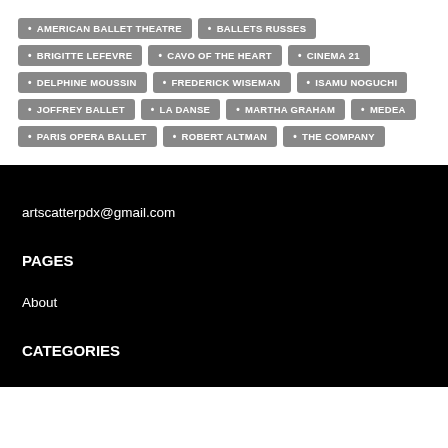AMERICAN BALLET THEATRE
BALLETS RUSSES
BRIGITTE LEFEVRE
CAVO OF THE HEART
CINEMA 21
DELPHINE MOUSSIN
FREDERICK WISEMAN
ISAMU NOGUCHI
JOFFREY BALLET
LA DANSE
MARTHA GRAHAM
MEDEA
PARIS OPERA BALLET
ROBERT ALTMAN
THE COMPANY
artscatterpdx@gmail.com
PAGES
About
CATEGORIES